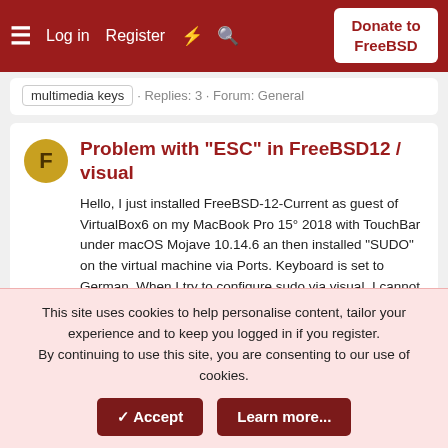Log in  Register  Donate to FreeBSD
multimedia keys · Replies: 3 · Forum: General
Problem with "ESC" in FreeBSD12 / visual
Hello, I just installed FreeBSD-12-Current as guest of VirtualBox6 on my MacBook Pro 15° 2018 with TouchBar under macOS Mojave 10.14.6 an then installed "SUDO" on the virtual machine via Ports. Keyboard is set to German. When I try to configure sudo via visual, I cannot leave insert-mode with...
freeBSDNew · Thread · Mar 11, 2020 · esc
freebsd as guest  keyboard  keycaps  problem  virtualbox  visudo · Replies: 2 · Forum: General
This site uses cookies to help personalise content, tailor your experience and to keep you logged in if you register.
By continuing to use this site, you are consenting to our use of cookies.
✓ Accept  Learn more...